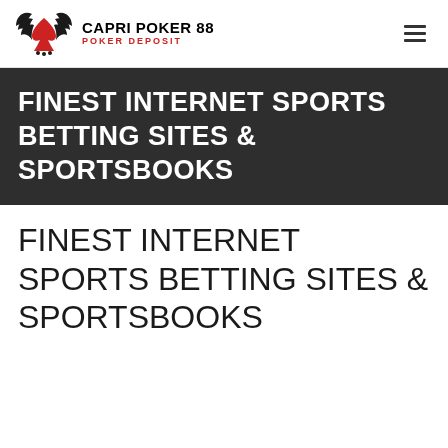CAPRI POKER 88 POKER DEPOSIT
FINEST INTERNET SPORTS BETTING SITES & SPORTSBOOKS
FINEST INTERNET SPORTS BETTING SITES & SPORTSBOOKS